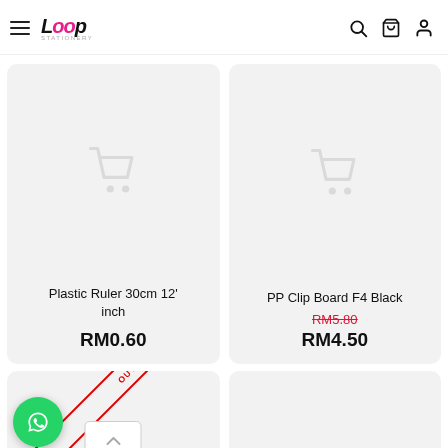Loop Stationery — navigation header with hamburger menu, logo, search, cart, and account icons
[Figure (screenshot): Product card for Plastic Ruler 30cm 12 inch showing placeholder cart icon image and price RM0.60]
Plastic Ruler 30cm 12' inch
RM0.60
[Figure (screenshot): Product card for PP Clip Board F4 Black showing placeholder cart icon image, original price RM5.80 struck through and sale price RM4.50]
PP Clip Board F4 Black
RM5.80
RM4.50
[Figure (screenshot): Partial bottom product card with OUT OF STOCK diagonal ribbon banner and WhatsApp contact button overlay]